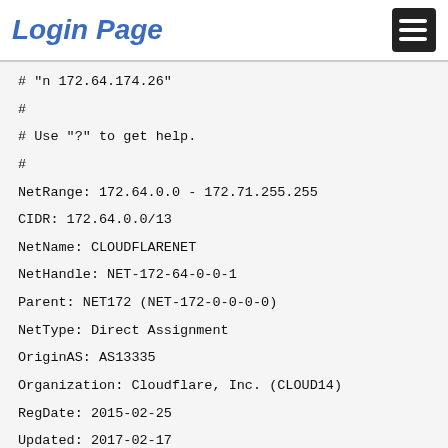Login Page
# "n 172.64.174.26"
#
# Use "?" to get help.
#
NetRange: 172.64.0.0 - 172.71.255.255
CIDR: 172.64.0.0/13
NetName: CLOUDFLARENET
NetHandle: NET-172-64-0-0-1
Parent: NET172 (NET-172-0-0-0-0)
NetType: Direct Assignment
OriginAS: AS13335
Organization: Cloudflare, Inc. (CLOUD14)
RegDate: 2015-02-25
Updated: 2017-02-17
Comment: All Cloudflare abuse reporting can be